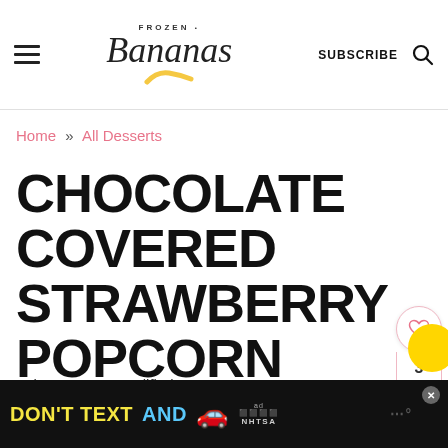Frozen Bananas – SUBSCRIBE [search]
Home » All Desserts
CHOCOLATE COVERED STRAWBERRY POPCORN
Feb 11, 2021 · Modified: Apr 18, 2022 · 1 Comments
[Figure (screenshot): Ad banner: DON'T TEXT AND [car emoji] ad NHTSA logo, with close button]
[Figure (infographic): Side social buttons: heart icon, count 3, share icon, yellow circle]